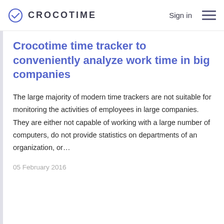CROCOTIME  Sign in
Crocotime time tracker to conveniently analyze work time in big companies
The large majority of modern time trackers are not suitable for monitoring the activities of employees in large companies. They are either not capable of working with a large number of computers, do not provide statistics on departments of an organization, or…
05 February 2016